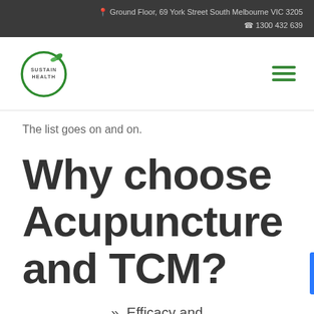Ground Floor, 69 York Street South Melbourne VIC 3205
1300 432 639
[Figure (logo): Sustain Health logo: green circle with leaf, text SUSTAIN HEALTH inside]
The list goes on and on.
Why choose Acupuncture and TCM?
» Efficacy and transparency –